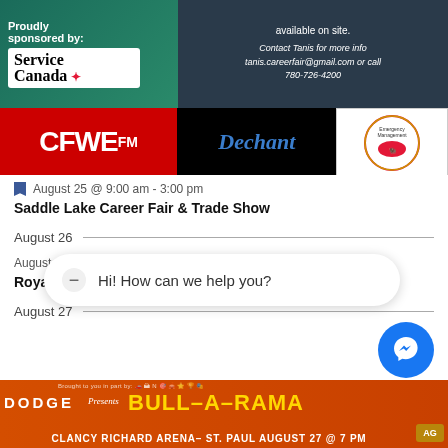[Figure (infographic): Career fair promotional banner with Service Canada sponsor logo, contact information for Tanis (tanis.careerfair@gmail.com or call 780-726-4200), CFWE FM logo, Dechant logo, and Emergency Management logo]
August 25 @ 9:00 am - 3:00 pm
Saddle Lake Career Fair & Trade Show
August 26
August 26 @ 6:00 pm - 8:00 pm
Royal Canadian Legion Br. 211 Cold Lake Steak Night
August 27
[Figure (infographic): Chat bubble overlay: Hi! How can we help you? with Messenger bubble icon]
[Figure (infographic): Bottom banner: DODGE presents BULL-A-RAMA, Clancy Richard Arena - St. Paul August 27 @ 7 PM]